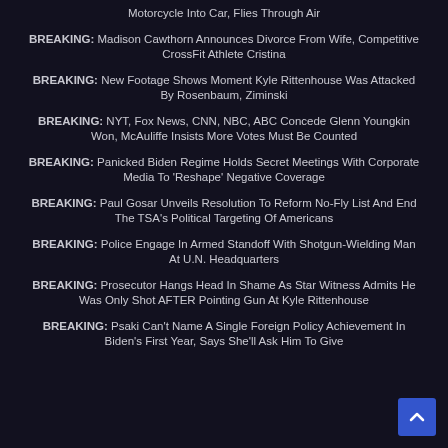Motorcycle Into Car, Flies Through Air
BREAKING: Madison Cawthorn Announces Divorce From Wife, Competitive CrossFit Athlete Cristina
BREAKING: New Footage Shows Moment Kyle Rittenhouse Was Attacked By Rosenbaum, Ziminski
BREAKING: NYT, Fox News, CNN, NBC, ABC Concede Glenn Youngkin Won, McAuliffe Insists More Votes Must Be Counted
BREAKING: Panicked Biden Regime Holds Secret Meetings With Corporate Media To 'Reshape' Negative Coverage
BREAKING: Paul Gosar Unveils Resolution To Reform No-Fly List And End The TSA's Political Targeting Of Americans
BREAKING: Police Engage In Armed Standoff With Shotgun-Wielding Man At U.N. Headquarters
BREAKING: Prosecutor Hangs Head In Shame As Star Witness Admits He Was Only Shot AFTER Pointing Gun At Kyle Rittenhouse
BREAKING: Psaki Can't Name A Single Foreign Policy Achievement In Biden's First Year, Says She'll Ask Him To Give